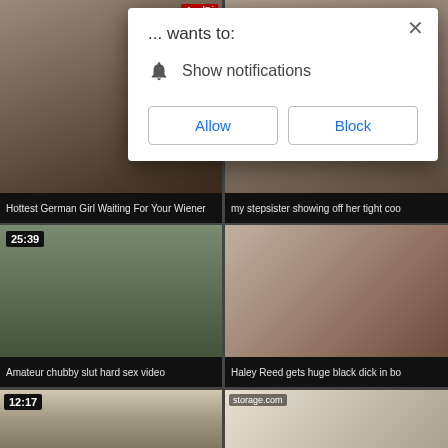[Figure (screenshot): Browser notification permission dialog overlaid on adult video website grid. Dialog says '... wants to:' with 'Show notifications' option and Allow/Block buttons. Behind dialog are thumbnail grids of adult videos with titles: 'Hottest German Girl Waiting For Your Wiener', 'my stepsister showing off her tight coo...', 'Amateur chubby slut hard sex video', 'Haley Reed gets huge black dick in bo...']
... wants to:
Show notifications
Allow
Block
Hottest German Girl Waiting For Your Wiener
my stepsister showing off her tight coo
25:39
Amateur chubby slut hard sex video
Haley Reed gets huge black dick in bo
12:17
storage.com